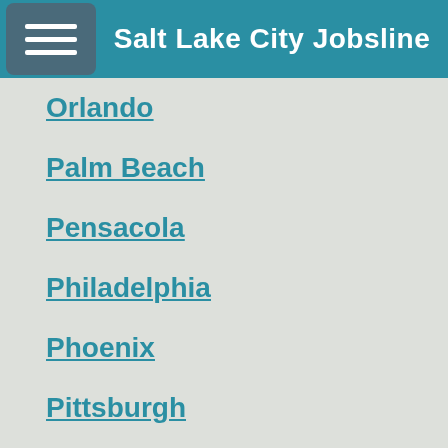Salt Lake City Jobsline
Orlando
Palm Beach
Pensacola
Philadelphia
Phoenix
Pittsburgh
Portland
Providence
Raleigh
Reno
Sacramento
Saginaw